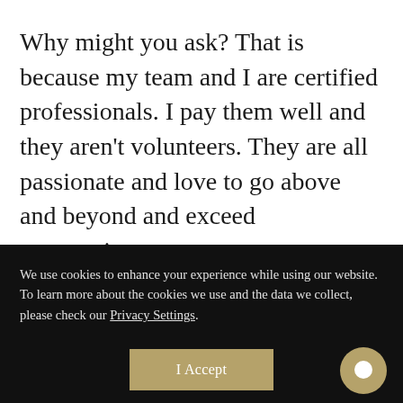Why might you ask? That is because my team and I are certified professionals. I pay them well and they aren't volunteers. They are all passionate and love to go above and beyond and exceed expectations.

Photography is not a cheap profession. Like all professions there are tools to
We use cookies to enhance your experience while using our website. To learn more about the cookies we use and the data we collect, please check our Privacy Settings.